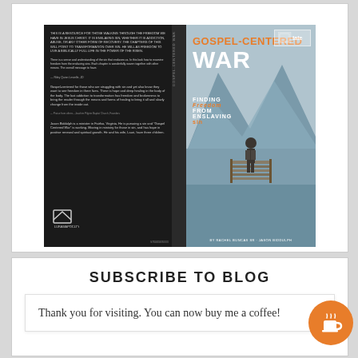[Figure (illustration): Book cover of 'Gospel-Centered War: Finding Freedom from Enslaving Sin' showing a man standing on a dock looking at mountains, with a dark back cover showing endorsements and a publisher logo.]
SUBSCRIBE TO BLOG
Thank you for visiting. You can now buy me a coffee!
[Figure (illustration): Orange circular button with a coffee cup icon (Buy Me a Coffee widget)]